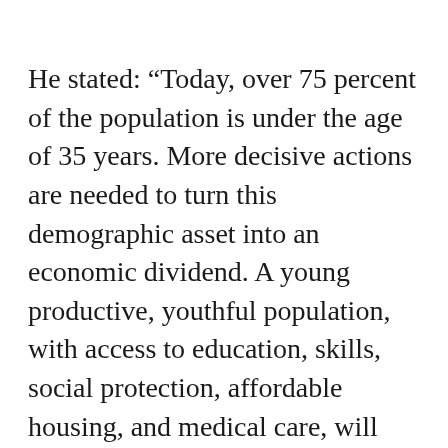He stated: “Today, over 75 percent of the population is under the age of 35 years. More decisive actions are needed to turn this demographic asset into an economic dividend. A young productive, youthful population, with access to education, skills, social protection, affordable housing, and medical care, will power Nigeria’s economy, now and well into the future.
“We must move away from so-called ‘youth empowerment programs’. The youth do not need handouts, they need investments. There is no